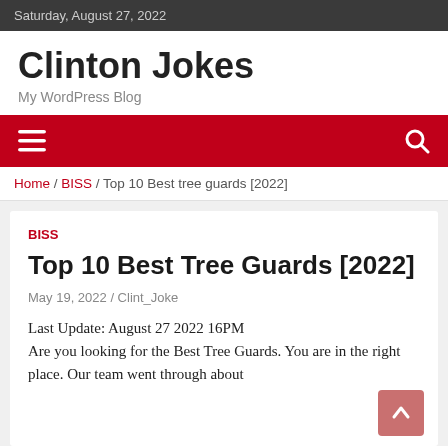Saturday, August 27, 2022
Clinton Jokes
My WordPress Blog
[Figure (other): Red navigation bar with hamburger menu icon on left and search icon on right]
Home / BISS / Top 10 Best tree guards [2022]
BISS
Top 10 Best Tree Guards [2022]
May 19, 2022 / Clint_Joke
Last Update: August 27 2022 16PM
Are you looking for the Best Tree Guards. You are in the right place. Our team went through about